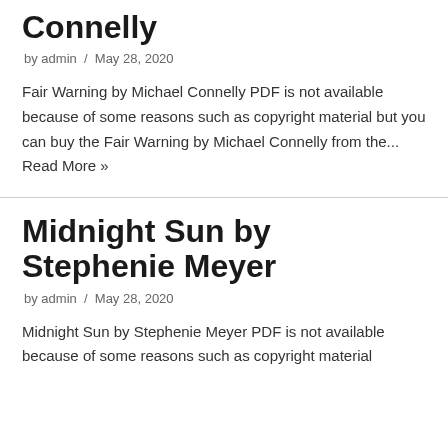Connelly
by admin / May 28, 2020
Fair Warning by Michael Connelly PDF is not available because of some reasons such as copyright material but you can buy the Fair Warning by Michael Connelly from the... Read More »
Midnight Sun by Stephenie Meyer
by admin / May 28, 2020
Midnight Sun by Stephenie Meyer PDF is not available because of some reasons such as copyright material